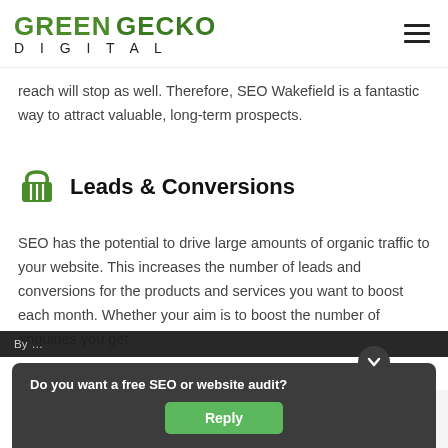GREEN GECKO DIGITAL
reach will stop as well. Therefore, SEO Wakefield is a fantastic way to attract valuable, long-term prospects.
Leads & Conversions
SEO has the potential to drive large amounts of organic traffic to your website. This increases the number of leads and conversions for the products and services you want to boost each month. Whether your aim is to boost the number of enquiries you get
By ...
Do you want a free SEO or website audit? Reply